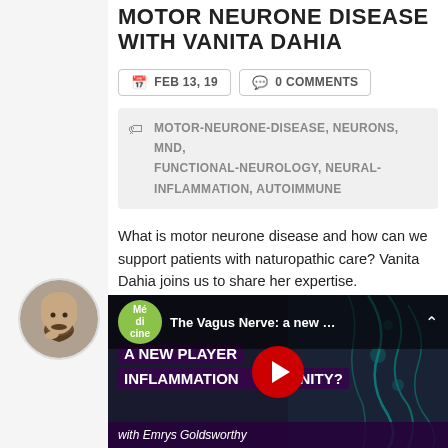MOTOR NEURONE DISEASE WITH VANITA DAHIA
FEB 13, 19   0 COMMENTS
MOTOR-NEURONE-DISEASE, NEURONS, MND, FUNCTIONAL-NEUROLOGY, NEURAL-INFLAMMATION, AUTOIMMUNE
What is motor neurone disease and how can we support patients with naturopathic care? Vanita Dahia joins us to share her expertise.
[Figure (screenshot): YouTube video thumbnail showing 'The Vagus Nerve: a new...' — A NEW PLAYER IN INFLAMMATION AND IMMUNITY? with Emrys Goldsworthy. Green Medicine circular logo, teal nerve/anatomy imagery background, red YouTube play button.]